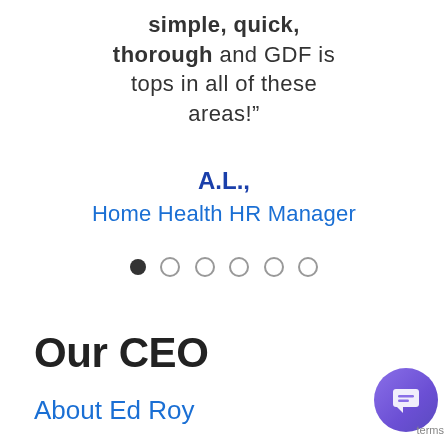simple, quick, thorough and GDF is tops in all of these areas!”
A.L., Home Health HR Manager
[Figure (other): Carousel navigation dots: one filled dot followed by five empty circle dots]
Our CEO
About Ed Roy